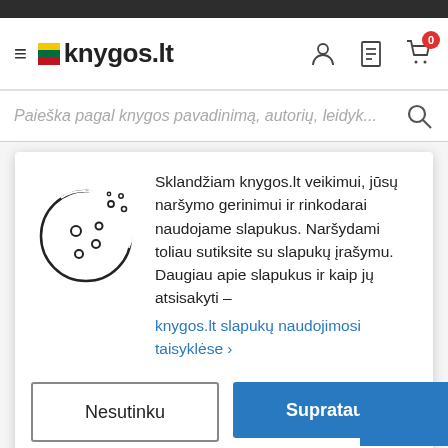knygos.lt
Paieška pagal knygos pavadinimą, autorių, leidyk...
[Figure (illustration): Cookie icon - a cookie with a bite taken out of it]
Sklandžiam knygos.lt veikimui, jūsų naršymo gerinimui ir rinkodarai naudojame slapukus. Naršydami toliau sutiksite su slapukų įrašymu. Daugiau apie slapukus ir kaip jų atsisakyti – knygos.lt slapukų naudojimosi taisyklėse >